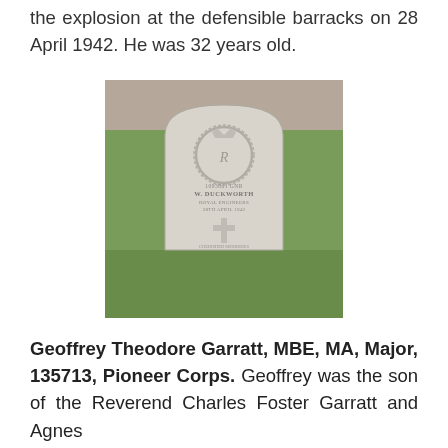the explosion at the defensible barracks on 28 April 1942. He was 32 years old.
[Figure (photo): Photograph of a white Commonwealth War Graves Commission headstone for W. Duckworth, Royal Engineers, 28th April 1942, with a carved regimental badge at the top and a cross in the lower half, set in a grassy cemetery.]
Geoffrey Theodore Garratt, MBE, MA, Major, 135713, Pioneer Corps. Geoffrey was the son of the Reverend Charles Foster Garratt and Agnes